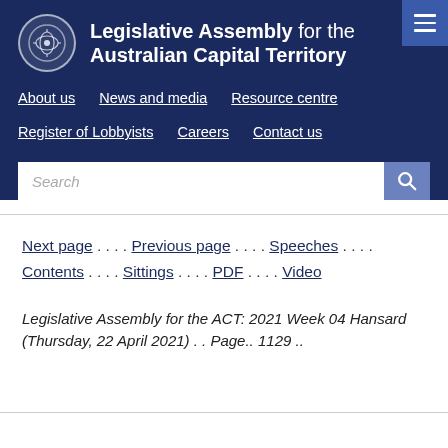Legislative Assembly for the Australian Capital Territory
About us . News and media . Resource centre . Register of Lobbyists . Careers . Contact us
Next page . . . . Previous page . . . . Speeches . . . . Contents . . . . Sittings . . . . PDF . . . . Video
Legislative Assembly for the ACT: 2021 Week 04 Hansard (Thursday, 22 April 2021) . . Page.. 1129 ..